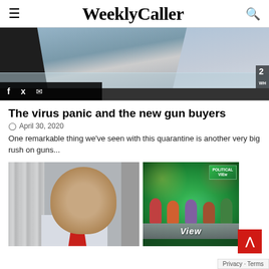WeeklyCaller
[Figure (photo): Hero image of gun shop interior with customers at a glass display case, with social sharing icons overlay (Facebook, Twitter, email) and a channel bug showing '2']
The virus panic and the new gun buyers
April 30, 2020
One remarkable thing we've seen with this quarantine is another very big rush on guns...
[Figure (photo): Photo of an older man in a suit with a red tie, standing in front of classical stone pillars]
[Figure (photo): Screenshot of The View TV show set with holiday decorations and a 'Political View' badge, with The View logo on a curved desk]